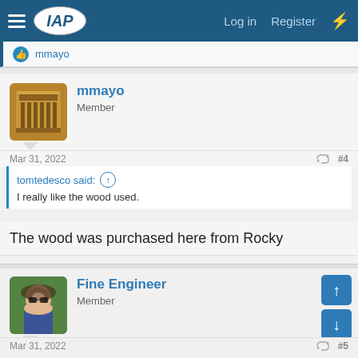IAP | Log in | Register
mmayo
mmayo
Member
Mar 31, 2022   #4
tomtedesco said: ↑
I really like the wood used.
The wood was purchased here from Rocky
Fine Engineer
Member
Mar 31, 2022   #5